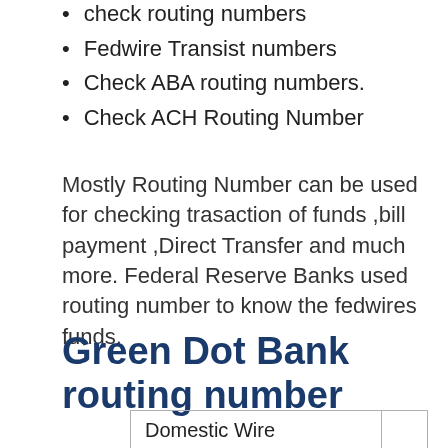check routing numbers
Fedwire Transist numbers
Check ABA routing numbers.
Check ACH Routing Number
Mostly Routing Number can be used for checking trasaction of funds ,bill payment ,Direct Transfer and much more. Federal Reserve Banks used routing number to know the fedwires funds.
Green Dot Bank routing number
| Domestic Wire |  |
| --- | --- |